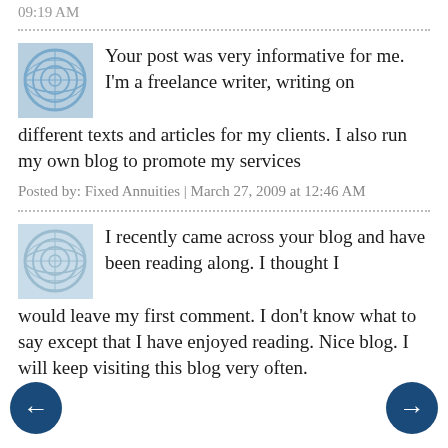09:19 AM
Your post was very informative for me. I'm a freelance writer, writing on different texts and articles for my clients. I also run my own blog to promote my services
Posted by: Fixed Annuities | March 27, 2009 at 12:46 AM
I recently came across your blog and have been reading along. I thought I would leave my first comment. I don't know what to say except that I have enjoyed reading. Nice blog. I will keep visiting this blog very often.